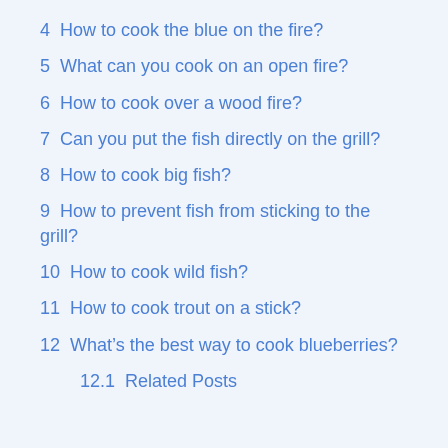4  How to cook the blue on the fire?
5  What can you cook on an open fire?
6  How to cook over a wood fire?
7  Can you put the fish directly on the grill?
8  How to cook big fish?
9  How to prevent fish from sticking to the grill?
10  How to cook wild fish?
11  How to cook trout on a stick?
12  What’s the best way to cook blueberries?
12.1  Related Posts